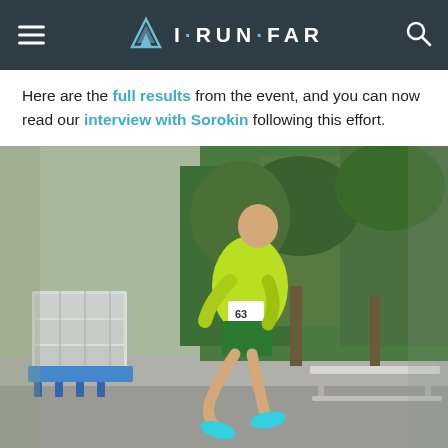I·RUN·FAR
Here are the full results from the event, and you can now read our interview with Sorokin following this effort.
[Figure (photo): A male runner wearing a bright yellow-green long-sleeve shirt, green shorts, and teal running shoes with race bib number 63, running on a paved path with trees and industrial water containers in the background.]